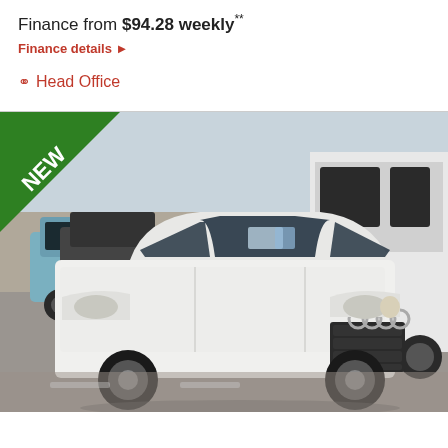Finance from $94.28 weekly**
Finance details ▶
Head Office
[Figure (photo): White Audi S4 sedan parked in a vehicle yard with other cars visible. A green 'NEW' badge triangle is overlaid in the top-left corner.]